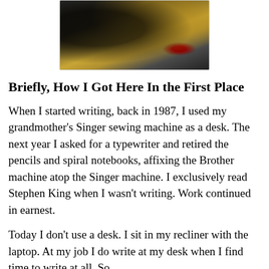[Figure (photo): Overhead photo of a desk workspace with a laptop/chair, wooden desk surface, and items including what appears to be a red cup or object]
Briefly, How I Got Here In the First Place
When I started writing, back in 1987, I used my grandmother's Singer sewing machine as a desk. The next year I asked for a typewriter and retired the pencils and spiral notebooks, affixing the Brother machine atop the Singer machine. I exclusively read Stephen King when I wasn't writing. Work continued in earnest.
Today I don't use a desk. I sit in my recliner with the laptop. At my job I do write at my desk when I find time to write at all. So